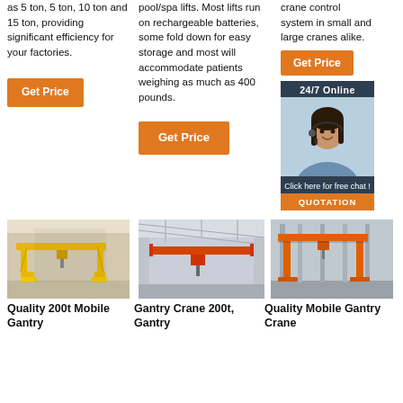as 5 ton, 5 ton, 10 ton and 15 ton, providing significant efficiency for your factories.
pool/spa lifts. Most lifts run on rechargeable batteries, some fold down for easy storage and most will accommodate patients weighing as much as 400 pounds.
crane control system in small and large cranes alike.
Get Price
Get Price
Get Price
[Figure (infographic): Customer service representative with headset, 24/7 Online chat widget with QUOTATION button]
[Figure (photo): Yellow mobile gantry crane inside a warehouse]
[Figure (photo): Orange overhead crane inside an industrial building]
[Figure (photo): Orange mobile gantry crane in a warehouse]
Quality 200t Mobile Gantry
Gantry Crane 200t, Gantry
Quality Mobile Gantry Crane